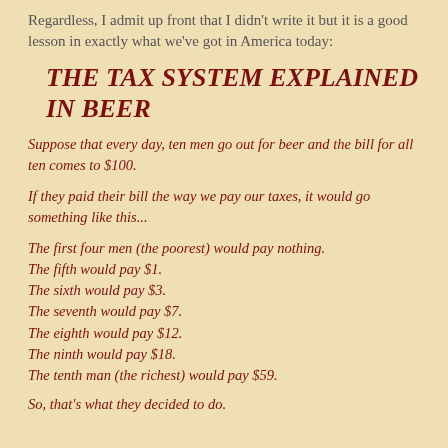Regardless, I admit up front that I didn't write it but it is a good lesson in exactly what we've got in America today:
THE TAX SYSTEM EXPLAINED IN BEER
Suppose that every day, ten men go out for beer and the bill for all ten comes to $100.
If they paid their bill the way we pay our taxes, it would go something like this...
The first four men (the poorest) would pay nothing.
The fifth would pay $1.
The sixth would pay $3.
The seventh would pay $7.
The eighth would pay $12.
The ninth would pay $18.
The tenth man (the richest) would pay $59.
So, that's what they decided to do.